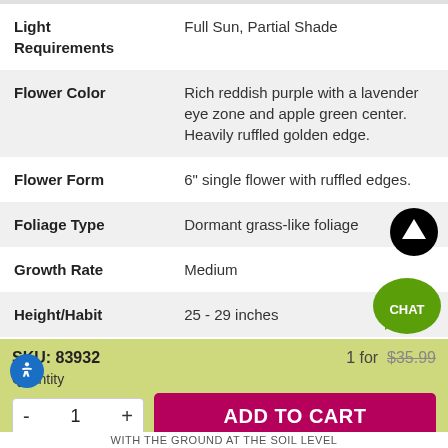| Attribute | Value |
| --- | --- |
| Light Requirements | Full Sun, Partial Shade |
| Flower Color | Rich reddish purple with a lavender eye zone and apple green center. Heavily ruffled golden edge. |
| Flower Form | 6" single flower with ruffled edges. |
| Foliage Type | Dormant grass-like foliage |
| Growth Rate | Medium |
| Height/Habit | 25 - 29 inches |
SKU: 83932   1 for $35.99
Quantity
ADD TO CART
WITH THE GROUND AT THE SOIL LEVEL